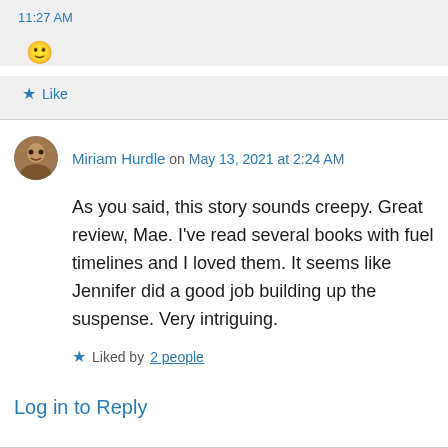11:27 AM
[Figure (illustration): Yellow smiley face emoji]
★ Like
Miriam Hurdle on May 13, 2021 at 2:24 AM
As you said, this story sounds creepy. Great review, Mae. I've read several books with fuel timelines and I loved them. It seems like Jennifer did a good job building up the suspense. Very intriguing.
★ Liked by 2 people
Log in to Reply